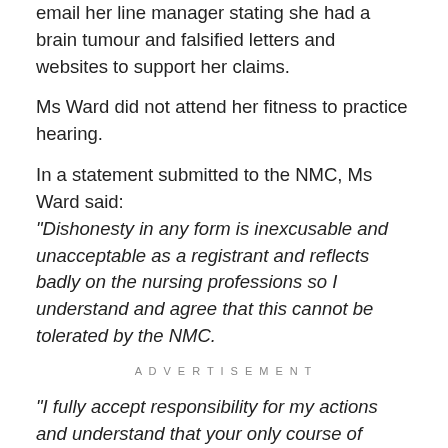email her line manager stating she had a brain tumour and falsified letters and websites to support her claims.
Ms Ward did not attend her fitness to practice hearing.
In a statement submitted to the NMC, Ms Ward said: “Dishonesty in any form is inexcusable and unacceptable as a registrant and reflects badly on the nursing professions so I understand and agree that this cannot be tolerated by the NMC.
ADVERTISEMENT
“I fully accept responsibility for my actions and understand that your only course of action is to remove me from the register.